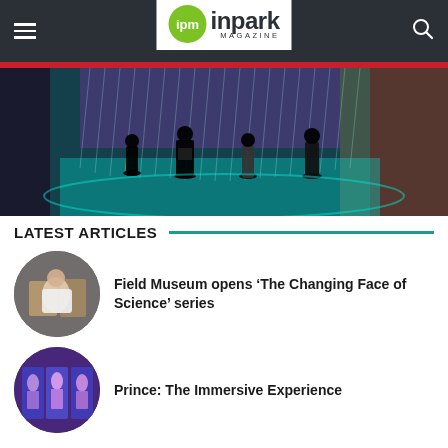ipm inpark MAGAZINE
[Figure (photo): People silhouetted against a large colorful LED water curtain fountain at night, with purple, teal and blue lighting]
LATEST ARTICLES
[Figure (photo): Circular thumbnail: person interacting with a museum exhibit display]
Field Museum opens ‘The Changing Face of Science’ series
[Figure (photo): Circular thumbnail: Prince immersive experience exhibit with purple lighting and display figures]
Prince: The Immersive Experience